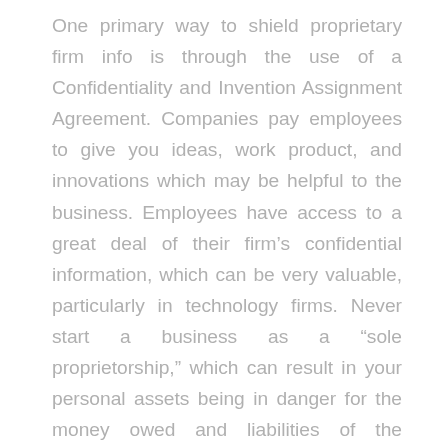One primary way to shield proprietary firm info is through the use of a Confidentiality and Invention Assignment Agreement. Companies pay employees to give you ideas, work product, and innovations which may be helpful to the business. Employees have access to a great deal of their firm's confidential information, which can be very valuable, particularly in technology firms. Never start a business as a “sole proprietorship,” which can result in your personal assets being in danger for the money owed and liabilities of the business.
The Internet will continue to be a competitor, as artists use web sites to purchase familiar products. We will stock merchandise that artists do not necessarily have experience with. We will preserve our worth, compromising to incorporate these